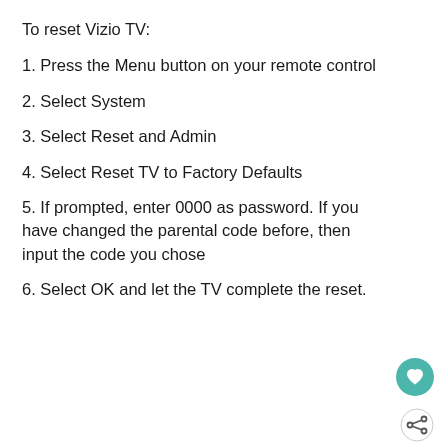To reset Vizio TV:
1. Press the Menu button on your remote control
2. Select System
3. Select Reset and Admin
4. Select Reset TV to Factory Defaults
5. If prompted, enter 0000 as password. If you have changed the parental code before, then input the code you chose
6. Select OK and let the TV complete the reset.